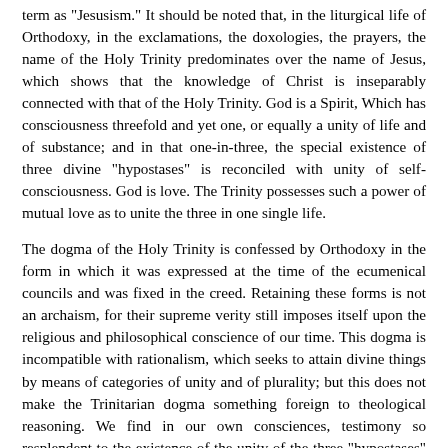term as "Jesusism." It should be noted that, in the liturgical life of Orthodoxy, in the exclamations, the doxologies, the prayers, the name of the Holy Trinity predominates over the name of Jesus, which shows that the knowledge of Christ is inseparably connected with that of the Holy Trinity. God is a Spirit, Which has consciousness threefold and yet one, or equally a unity of life and of substance; and in that one-in-three, the special existence of three divine "hypostases" is reconciled with unity of self-consciousness. God is love. The Trinity possesses such a power of mutual love as to unite the three in one single life.
The dogma of the Holy Trinity is confessed by Orthodoxy in the form in which it was expressed at the time of the ecumenical councils and was fixed in the creed. Retaining these forms is not an archaism, for their supreme verity still imposes itself upon the religious and philosophical conscience of our time. This dogma is incompatible with rationalism, which seeks to attain divine things by means of categories of unity and of plurality; but this does not make the Trinitarian dogma something foreign to theological reasoning. We find in our own consciences, testimony so resplendent to the existence of the unity of the three "hypostases" (I — you — we) that this dogma becomes a necessity for thought and the point of departure of all metaphysics. The dogma of the Holy Trinity is not only a doctrinal form, but a living Christian experience which is constantly developing; it is a fact of the